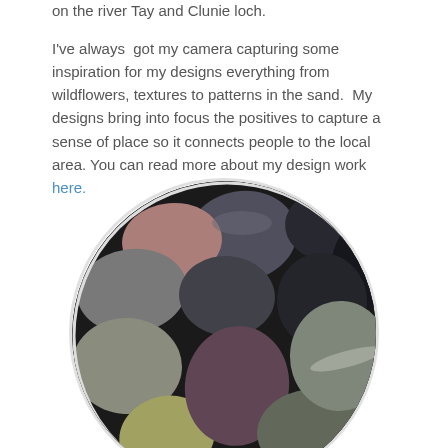on the river Tay and Clunie loch.
I've always  got my camera capturing some inspiration for my designs everything from wildflowers, textures to patterns in the sand.  My designs bring into focus the positives to capture a sense of place so it connects people to the local area. You can read more about my design work here.
[Figure (photo): Circular cropped photograph of smooth river pebbles and stones in various colors including grey, black, pink, yellow-green, and brown, filling the entire circular frame.]